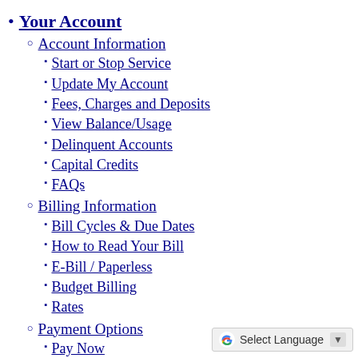Your Account
Account Information
Start or Stop Service
Update My Account
Fees, Charges and Deposits
View Balance/Usage
Delinquent Accounts
Capital Credits
FAQs
Billing Information
Bill Cycles & Due Dates
How to Read Your Bill
E-Bill / Paperless
Budget Billing
Rates
Payment Options
Pay Now
Payment Information
Energy Assistance
Member Services
Service Requests
Residential
Commercial